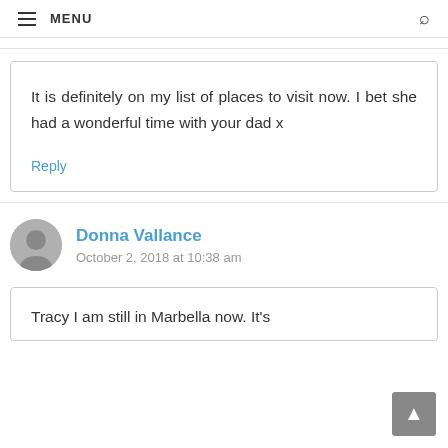MENU
It is definitely on my list of places to visit now. I bet she had a wonderful time with your dad x
Reply
Donna Vallance
October 2, 2018 at 10:38 am
Tracy I am still in Marbella now. It's